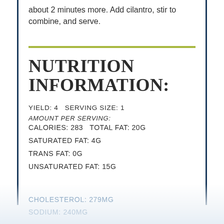about 2 minutes more. Add cilantro, stir to combine, and serve.
NUTRITION INFORMATION:
YIELD: 4  SERVING SIZE: 1
AMOUNT PER SERVING:
CALORIES: 283  TOTAL FAT: 20G
SATURATED FAT: 4G
TRANS FAT: 0G
UNSATURATED FAT: 15G
CHOLESTEROL: 279MG
SODIUM: 240MG